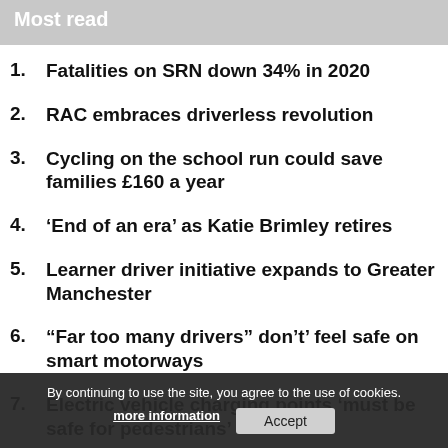Most read
1. Fatalities on SRN down 34% in 2020
2. RAC embraces driverless revolution
3. Cycling on the school run could save families £160 a year
4. ‘End of an era’ as Katie Brimley retires
5. Learner driver initiative expands to Greater Manchester
6. “Far too many drivers” don’t’ feel safe on smart motorways
7. Electric vehicle charging points ‘must be safe for pedestrians’
By continuing to use the site, you agree to the use of cookies. more information  Accept